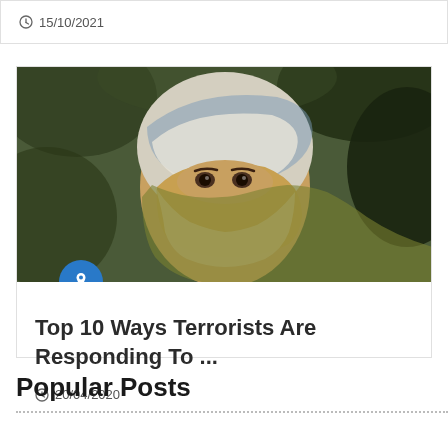15/10/2021
[Figure (photo): A person with face mostly covered by a wrapped cloth headscarf, only eyes visible, outdoors with blurred green background.]
Top 10 Ways Terrorists Are Responding To ...
20/04/2020
Popular Posts